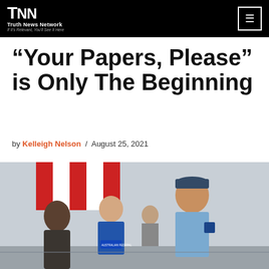Truth News Network — If It's Relevant, You'll See It Here
“Your Papers, Please” is Only The Beginning
by Kelleigh Nelson / August 25, 2021
[Figure (photo): Australian Federal Police officers checking documents or papers of civilians at what appears to be an outdoor checkpoint, with red and white barriers visible in the background.]